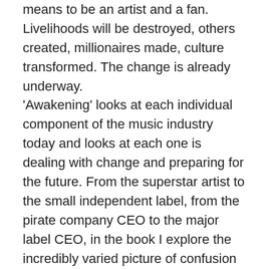means to be an artist and a fan. Livelihoods will be destroyed, others created, millionaires made, culture transformed. The change is already underway. ‘Awakening’ looks at each individual component of the music industry today and looks at each one is dealing with change and preparing for the future. From the superstar artist to the small independent label, from the pirate company CEO to the major label CEO, in the book I explore the incredibly varied picture of confusion and innovation, uncertainty and brilliance, fear and confidence. Most of all it is the story of a rebuilding, an Awakening of the new music industry.
The book has three sections:
How We Got Here: A detailed history of the years up until the launch of the iTunes Music Store, exploring